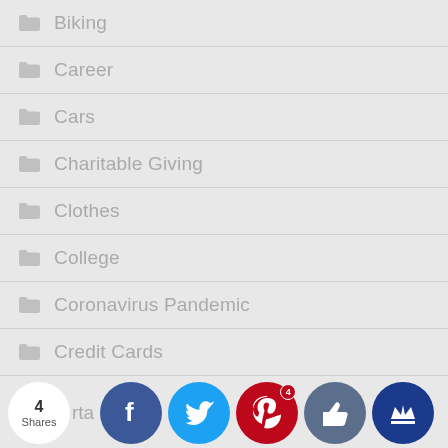Biking
Career
Cars
Charitable Giving
Clothes
College
Coronavirus Pandemic
Credit Cards
Demystifying Personal Finance Series